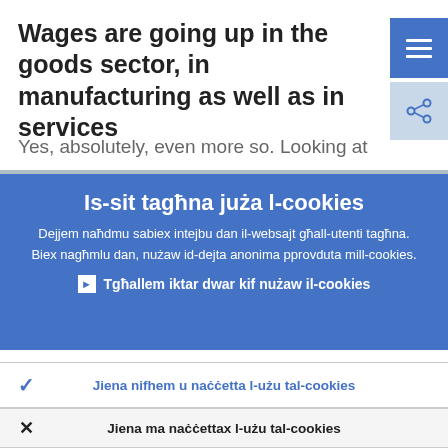Wages are going up in the goods sector, in manufacturing as well as in services
Yes, absolutely, even more so. Looking at
Is-sit tagħna juża l-cookies
Dejjem naħdmu sabiex intejbu dan il-websajt għall-utenti tagħna. Biex nagħmlu dan, nużaw id-dejta anonima pprovduta mill-cookies.
Tgħallem iktar dwar kif nużaw il-cookies
Jiena nifhem u naċċetta l-użu tal-cookies
Jiena ma naċċettax l-użu tal-cookies